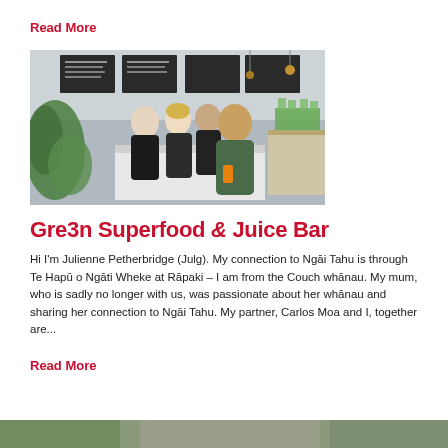Read More
[Figure (photo): Four people standing behind a counter in a superfood and juice bar cafe, with plants and menu boards visible in the background.]
Gre3n Superfood & Juice Bar
Hi I'm Julienne Petherbridge (Julg). My connection to Ngāi Tahu is through Te Hapū o Ngāti Wheke at Rāpaki – I am from the Couch whānau. My mum, who is sadly no longer with us, was passionate about her whānau and sharing her connection to Ngāi Tahu. My partner, Carlos Moa and I, together are...
Read More
[Figure (photo): Partial view of another article image, cropped at the bottom of the page.]